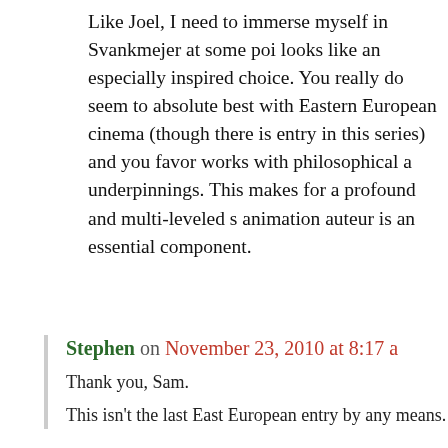Like Joel, I need to immerse myself in Svankmejer at some point. looks like an especially inspired choice. You really do seem to bring out your absolute best with Eastern European cinema (though there is entry in this series) and you favor works with philosophical and underpinnings. This makes for a profound and multi-leveled s animation auteur is an essential component.
Stephen on November 23, 2010 at 8:17 am
Thank you, Sam.
This isn't the last East European entry by any means.
Privacy & Cookies: This site uses cookies. By continuing to use this website, you agree to their use. To find out more, including how to control cookies, see here: Cookie Policy
Close and accept